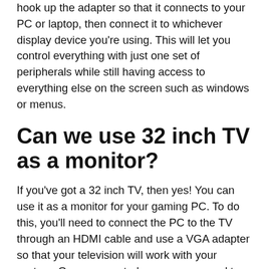hook up the adapter so that it connects to your PC or laptop, then connect it to whichever display device you're using. This will let you control everything with just one set of peripherals while still having access to everything else on the screen such as windows or menus.
Can we use 32 inch TV as a monitor?
If you've got a 32 inch TV, then yes! You can use it as a monitor for your gaming PC. To do this, you'll need to connect the PC to the TV through an HDMI cable and use a VGA adapter so that your television will work with your system. Once connected, you can proceed to configure your television as your